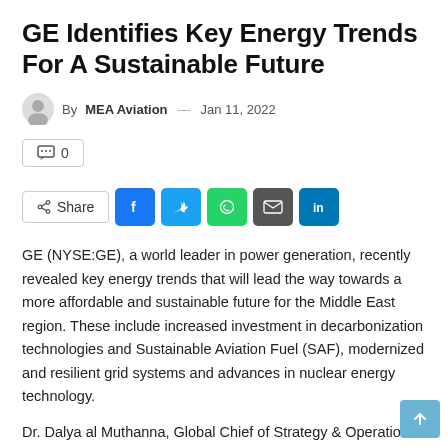GE Identifies Key Energy Trends For A Sustainable Future
By MEA Aviation — Jan 11, 2022
💬 0
Share (Facebook, Twitter, WhatsApp, Email, LinkedIn)
GE (NYSE:GE), a world leader in power generation, recently revealed key energy trends that will lead the way towards a more affordable and sustainable future for the Middle East region. These include increased investment in decarbonization technologies and Sustainable Aviation Fuel (SAF), modernized and resilient grid systems and advances in nuclear energy technology.
Dr. Dalya al Muthanna, Global Chief of Strategy & Operations and President, UAE from GE interviewed. Modernized and [GE]...